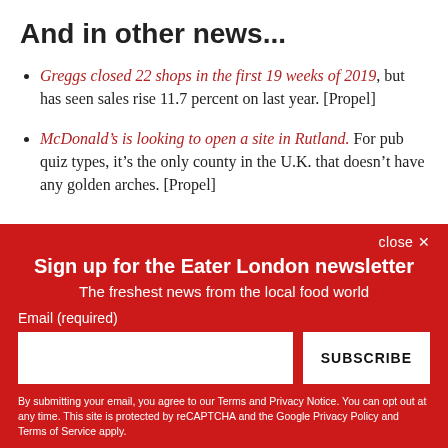And in other news...
Greggs closed 22 shops in the first 19 weeks of 2019, but has seen sales rise 11.7 percent on last year. [Propel]
McDonald’s is looking to open a site in Rutland. For pub quiz types, it’s the only county in the U.K. that doesn’t have any golden arches. [Propel]
close ×
Sign up for the Eater London newsletter
The freshest news from the local food world
Email (required)
SUBSCRIBE
By submitting your email, you agree to our Terms and Privacy Notice. You can opt out at any time. This site is protected by reCAPTCHA and the Google Privacy Policy and Terms of Service apply.